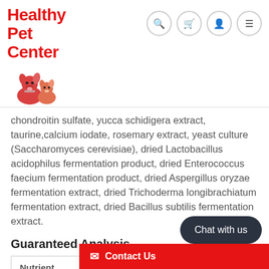[Figure (logo): Healthy Pet Center logo with red text and cartoon dogs illustration]
chondroitin sulfate, yucca schidigera extract, taurine,calcium iodate, rosemary extract, yeast culture (Saccharomyces cerevisiae), dried Lactobacillus acidophilus fermentation product, dried Enterococcus faecium fermentation product, dried Aspergillus oryzae fermentation extract, dried Trichoderma longibrachiatum fermentation extract, dried Bacillus subtilis fermentation extract.
Guaranteed Analysis
| Nutrient | Guara... |
| --- | --- |
| Crude Protein | 28% mi... |